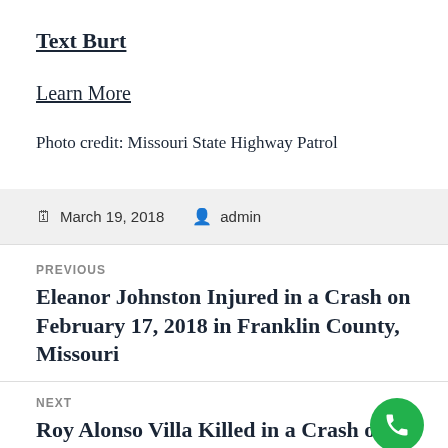Text Burt
Learn More
Photo credit: Missouri State Highway Patrol
March 19, 2018   admin
PREVIOUS
Eleanor Johnston Injured in a Crash on February 17, 2018 in Franklin County, Missouri
NEXT
Roy Alonso Villa Killed in a Crash on